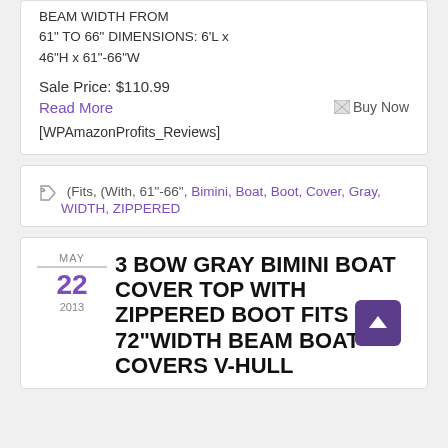&#66;&#69;&#65;&#77; WIDTH &#70;&#82;&#79;&#77; 61" TO 66" DIMENSIONS: &#54;&#76; x &#52;&#54;"&#72; x &#54;&#49;"&#45;&#54;&#54;"&#87;
Sale Price: $110.99
Read More
[Figure (other): Buy Now button placeholder image]
[WPAmazonProfits_Reviews]
Tags: (Fits, (With, 61"-66", Bimini, Boat, Boot, Cover, Gray, WIDTH, ZIPPERED
3 BOW GRAY BIMINI BOAT COVER TOP WITH ZIPPERED BOOT FITS 67"-72"WIDTH BEAM BOAT COVERS V-HULL